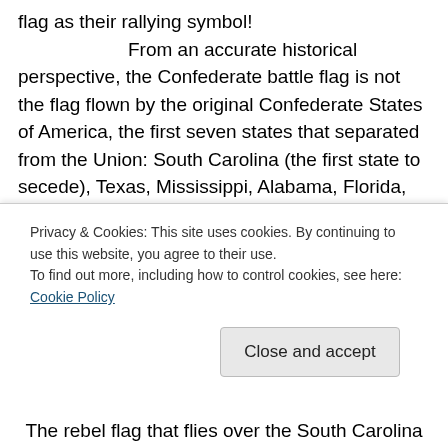flag as their rallying symbol!

From an accurate historical perspective, the Confederate battle flag is not the flag flown by the original Confederate States of America, the first seven states that separated from the Union: South Carolina (the first state to secede), Texas, Mississippi, Alabama, Florida, Louisiana and Georgia.  Later, North Carolina, Arkansas, Tennessee and Virginia withdrew from the Union and joined the Confederacy.

The Confederacy had several flags during its brief existence.  The first was the national flag, the...
Privacy & Cookies: This site uses cookies. By continuing to use this website, you agree to their use.
To find out more, including how to control cookies, see here: Cookie Policy
Close and accept
The rebel flag that flies over the South Carolina